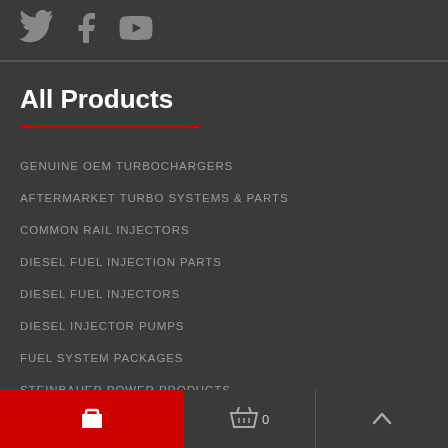Social icons: Twitter, Facebook, YouTube
All Products
GENUINE OEM TURBOCHARGERS
AFTERMARKET TURBO SYSTEMS & PARTS
COMMON RAIL INJECTORS
DIESEL FUEL INJECTION PARTS
DIESEL FUEL INJECTORS
DIESEL INJECTOR PUMPS
FUEL SYSTEM PACKAGES
STEINBAUER POWER PRODUCTS
Cart button, basket icon with 0 count, up arrow